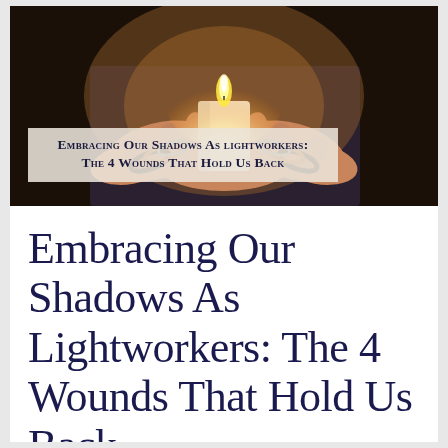[Figure (photo): Hands cupping a lit white candle with a bright flame, person wearing bead bracelets, dark background with warm lighting. Overlay text reads: 'Embracing Our Shadows As lightworkers: The 4 Wounds That Hold Us Back']
Embracing Our Shadows As Lightworkers: The 4 Wounds That Hold Us Back